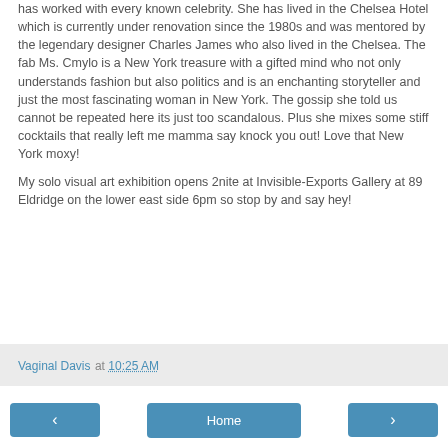has worked with every known celebrity. She has lived in the Chelsea Hotel which is currently under renovation since the 1980s and was mentored by the legendary designer Charles James who also lived in the Chelsea. The fab Ms. Cmylo is a New York treasure with a gifted mind who not only understands fashion but also politics and is an enchanting storyteller and just the most fascinating woman in New York. The gossip she told us cannot be repeated here its just too scandalous. Plus she mixes some stiff cocktails that really left me mamma say knock you out! Love that New York moxy!
My solo visual art exhibition opens 2nite at Invisible-Exports Gallery at 89 Eldridge on the lower east side 6pm so stop by and say hey!
Vaginal Davis at 10:25 AM
‹  Home  ›